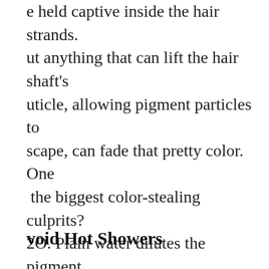e held captive inside the hair strands. ut anything that can lift the hair shaft's uticle, allowing pigment particles to scape, can fade that pretty color. One the biggest color-stealing culprits? 2O. Plain water dilutes the pigment nd causes it to fade faster. But before u stop washing your hair for good, these hair saving techniques that ll save your color!
void Hot Showers
ot water doesn't only dry out your in; it can decrease the life of your ir color. The temperature opens up le, releasing your precious nd moisture. The key to owering with hair color is to shower